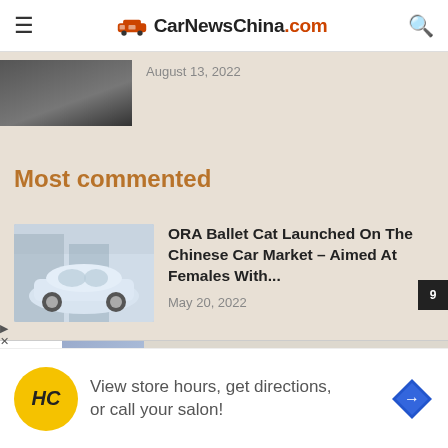CarNewsChina.com
August 13, 2022
Most commented
[Figure (photo): ORA Ballet Cat vehicle photo]
ORA Ballet Cat Launched On The Chinese Car Market – Aimed At Females With...
May 20, 2022
The Pig Road – JAC (a/a) – The new...
View store hours, get directions, or call your salon!